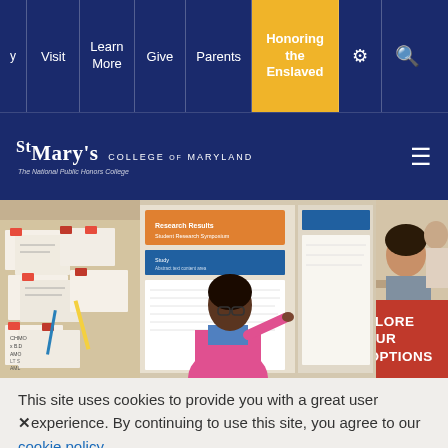Navigation: [y] | Visit | Learn More | Give | Parents | Honoring the Enslaved | [settings] | [search]
[Figure (screenshot): St. Mary's College of Maryland website header with logo and hamburger menu]
[Figure (photo): Three-panel photo strip: left panel shows papers/cards with red tabs on a table; center panel shows a Black woman in pink jacket pointing at a research poster display; right panel shows a young man studying, with a red overlay box reading EXPLORE OUR VISIT OPTIONS]
This site uses cookies to provide you with a great user experience. By continuing to use this site, you agree to our cookie policy.